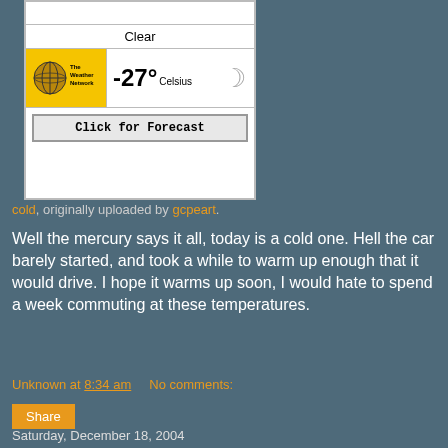[Figure (screenshot): Weather widget showing -27 degrees Celsius, Clear conditions, The Weather Network logo, and a Click for Forecast button]
cold, originally uploaded by gcpeart.
Well the mercury says it all, today is a cold one. Hell the car barely started, and took a while to warm up enough that it would drive. I hope it warms up soon, I would hate to spend a week commuting at these temperatures.
Unknown at 8:34 am    No comments:
Share
Saturday, December 18, 2004
House n'Stuff
Well there are the weekly pictures of the house, and it is doing pretty good. We also had a chance to meet some of